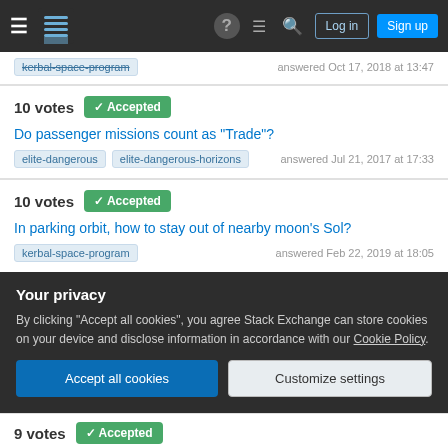Stack Exchange navigation bar with hamburger menu, logo, help, chat, search icons, Log in and Sign up buttons
kerbal-space-program   answered Oct 17, 2018 at 13:47
10 votes  Accepted
Do passenger missions count as "Trade"?
elite-dangerous  elite-dangerous-horizons
answered Jul 21, 2017 at 17:33
10 votes  Accepted
In parking orbit, how to stay out of nearby moon's Sol?
kerbal-space-program  answered Feb 22, 2019 at 18:05
Your privacy
By clicking "Accept all cookies", you agree Stack Exchange can store cookies on your device and disclose information in accordance with our Cookie Policy.
9 votes  Accepted